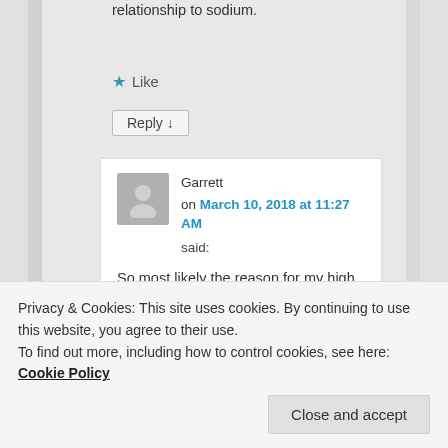relationship to sodium.
★ Like
Reply ↓
Garrett on March 10, 2018 at 11:27 AM said:
So most likely the reason for my high
Privacy & Cookies: This site uses cookies. By continuing to use this website, you agree to their use. To find out more, including how to control cookies, see here: Cookie Policy
Close and accept